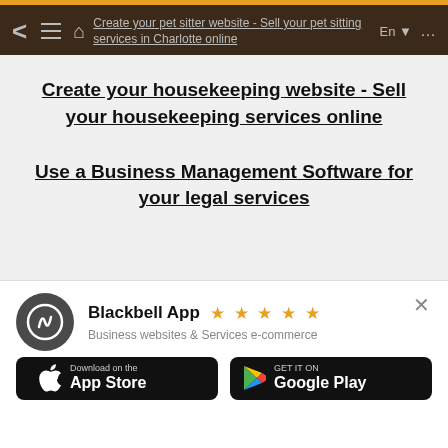Create your pet sitter website - Sell your pet sitting services in Charlotte online
Create your housekeeping website - Sell your housekeeping services online
Use a Business Management Software for your legal services
[Figure (infographic): App download banner with Blackbell App logo, 5-star rating, subtitle 'Business websites & Services e-commerce', App Store and Google Play buttons]